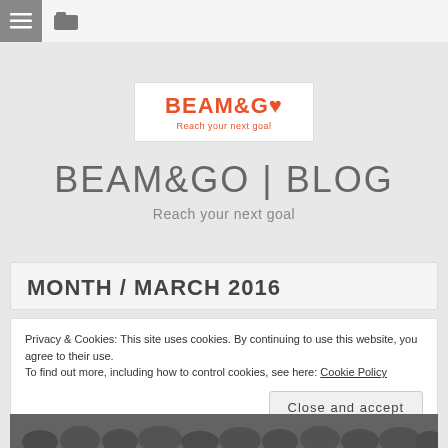Navigation bar with menu and folder icons
[Figure (logo): BEAM&GO logo with tagline 'Reach your next goal' in a white box]
BEAM&GO | BLOG
Reach your next goal
MONTH / MARCH 2016
Privacy & Cookies: This site uses cookies. By continuing to use this website, you agree to their use.
To find out more, including how to control cookies, see here: Cookie Policy
Close and accept
[Figure (photo): Group photo of many people]